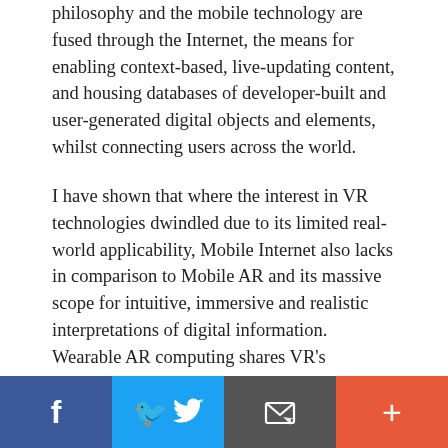philosophy and the mobile technology are fused through the Internet, the means for enabling context-based, live-updating content, and housing databases of developer-built and user-generated digital objects and elements, whilst connecting users across the world.
I have shown that where the interest in VR technologies dwindled due to its limited real-world applicability, Mobile Internet also lacks in comparison to Mobile AR and its massive scope for intuitive, immersive and realistic interpretations of digital information. Wearable AR computing shares VR's weaknesses, despite keeping the user firmly grounded in physical reality. Mobile AR offers a solution that places the power of these complex systems into a mobile telephone: the ubiquitous
Facebook | Twitter | Email | +